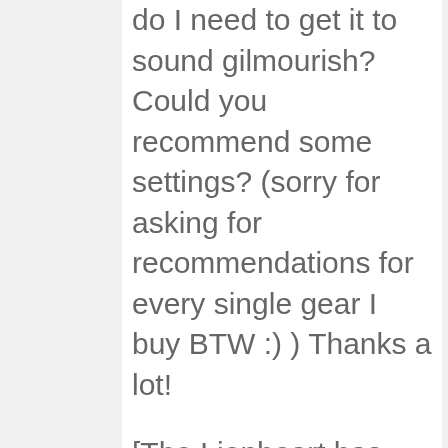do I need to get it to sound gilmourish? Could you recommend some settings? (sorry for asking for recommendations for every single gear I buy BTW :) ) Thanks a lot!
[The Lionheart has quite a lot of low end so you might want to back off the bass all the way down to 9 o'clock or even lower. I also use the bright